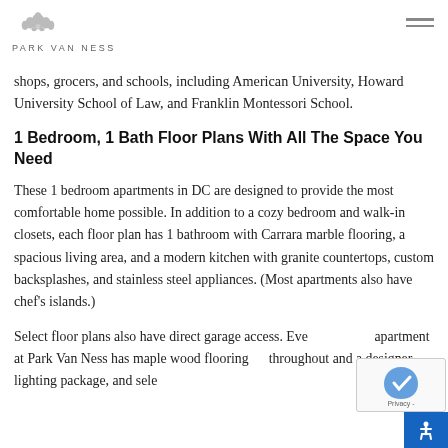PARK VAN NESS
shops, grocers, and schools, including American University, Howard University School of Law, and Franklin Montessori School.
1 Bedroom, 1 Bath Floor Plans With All The Space You Need
These 1 bedroom apartments in DC are designed to provide the most comfortable home possible. In addition to a cozy bedroom and walk-in closets, each floor plan has 1 bathroom with Carrara marble flooring, a spacious living area, and a modern kitchen with granite countertops, custom backsplashes, and stainless steel appliances. (Most apartments also have chef's islands.)
Select floor plans also have direct garage access. Every apartment at Park Van Ness has maple wood flooring throughout and a designer lighting package, and sele…